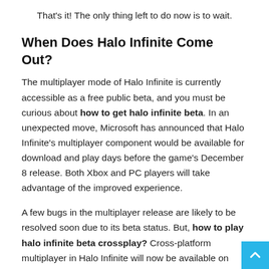That's it! The only thing left to do now is to wait.
When Does Halo Infinite Come Out?
The multiplayer mode of Halo Infinite is currently accessible as a free public beta, and you must be curious about how to get halo infinite beta. In an unexpected move, Microsoft has announced that Halo Infinite's multiplayer component would be available for download and play days before the game's December 8 release. Both Xbox and PC players will take advantage of the improved experience.
A few bugs in the multiplayer release are likely to be resolved soon due to its beta status. But, how to play halo infinite beta crossplay? Cross-platform multiplayer in Halo Infinite will now be available on Xbox One, Series S|X, and PC after the announcement. You may download the new app through the Store on your Xbox or t...